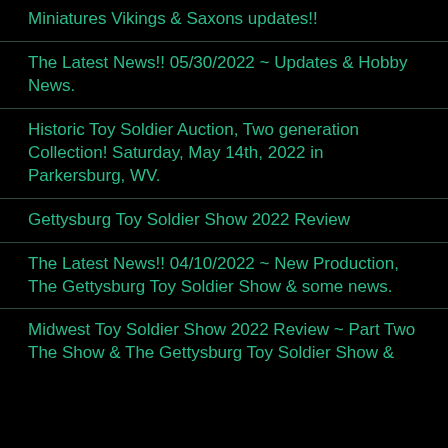Miniatures Vikings & Saxons updates!!
The Latest News!! 05/30/2022 ~ Updates & Hobby News.
Historic Toy Soldier Auction, Two generation Collection! Saturday, May 14th, 2022 in Parkersburg, WV.
Gettysburg Toy Soldier Show 2022 Review
The Latest News!! 04/10/2022 ~ New Production, The Gettysburg Toy Soldier Show & some news.
Midwest Toy Soldier Show 2022 Review ~ Part Two The Show & The Gettysburg Toy Soldier Show &